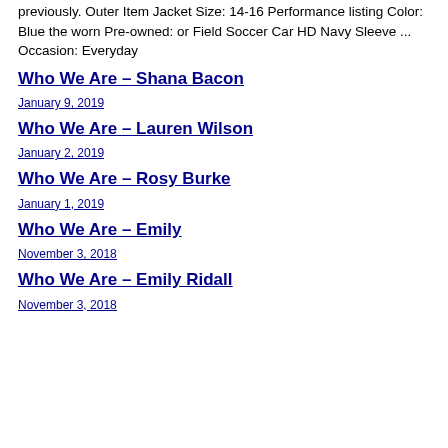previously. Outer Item Jacket Size: 14-16 Performance listing Color: Blue the worn Pre-owned: or Field Soccer Car HD Navy Sleeve ... Occasion: Everyday
Who We Are – Shana Bacon
January 9, 2019
Who We Are – Lauren Wilson
January 2, 2019
Who We Are – Rosy Burke
January 1, 2019
Who We Are – Emily
November 3, 2018
Who We Are – Emily Ridall
November 3, 2018